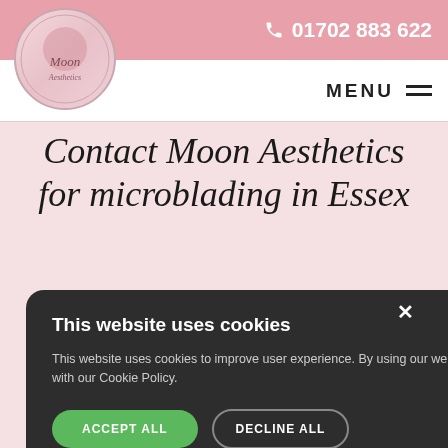01702 883 622
[Figure (logo): Moon Aesthetics circular logo with floral/moon imagery]
MENU
Contact Moon Aesthetics for microblading in Essex
ny beautiful ve to see t d time ag
clients b roblading
This website uses cookies
This website uses cookies to improve user experience. By using our website you consent to all cookies in accordance with our Cookie Policy.
ACCEPT ALL   DECLINE ALL